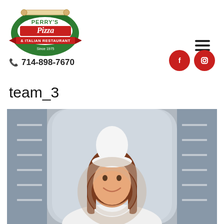[Figure (logo): Perry's Pizza & Italian Restaurant logo — oval green border with rolling pin, red banner saying 'Pizza', red ribbon below saying '& Italian Restaurant', text 'Since 1975']
714-898-7670
team_3
[Figure (photo): A smiling woman wearing a white chef's hat and white uniform, standing in a restaurant kitchen with stainless steel shelving in the background. A watermark circle is overlaid on the image.]